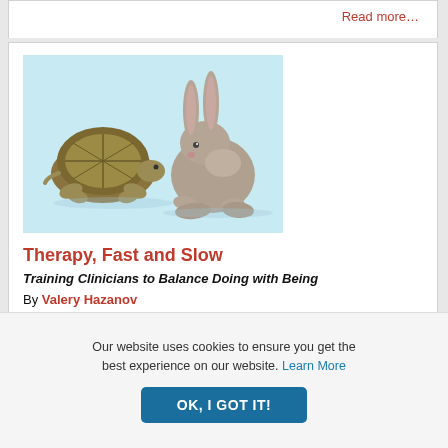Read more…
[Figure (photo): A tortoise and a rabbit facing each other on a light blue background]
Therapy, Fast and Slow
Training Clinicians to Balance Doing with Being
By Valery Hazanov
November/December 2021
Our website uses cookies to ensure you get the best experience on our website. Learn More
OK, I GOT IT!